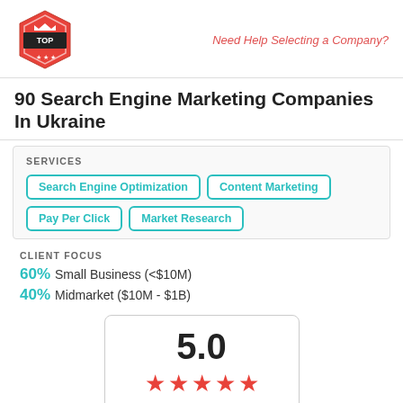[Figure (logo): Top Design Firms hexagon logo in red with crown icon]
Need Help Selecting a Company?
90 Search Engine Marketing Companies In Ukraine
SERVICES
Search Engine Optimization
Content Marketing
Pay Per Click
Market Research
CLIENT FOCUS
60% Small Business (<$10M)
40% Midmarket ($10M - $1B)
5.0
4 Clutch Reviews